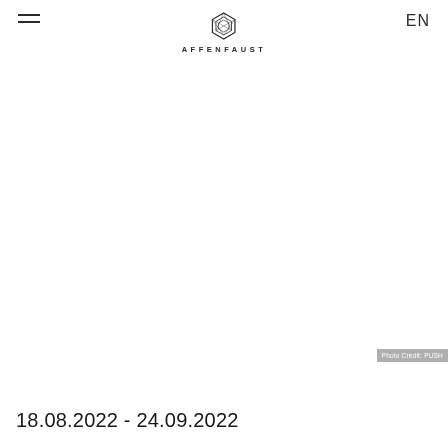AFFENFAUST GALERIE | EN
[Figure (logo): Affenfaust Galerie hexagonal geometric logo with AFFENFAUST GALERIE text below]
[Figure (photo): Large white/blank exhibition image area with 'Photo Credit: PUSH' watermark in bottom right]
Photo Credit: PUSH
18.08.2022 - 24.09.2022